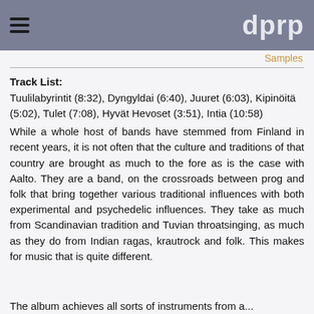≡  dprp
Samples
Track List:
Tuulilabyrintit (8:32), Dyngyldai (6:40), Juuret (6:03), Kipinöitä (5:02), Tulet (7:08), Hyvät Hevoset (3:51), Intia (10:58)
While a whole host of bands have stemmed from Finland in recent years, it is not often that the culture and traditions of that country are brought as much to the fore as is the case with Aalto. They are a band, on the crossroads between prog and folk that bring together various traditional influences with both experimental and psychedelic influences. They take as much from Scandinavian tradition and Tuvian throatsinging, as much as they do from Indian ragas, krautrock and folk. This makes for music that is quite different.
The album achieves all sorts of instruments from a...